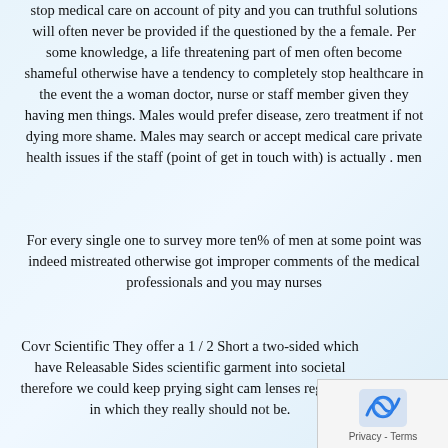stop medical care on account of pity and you can truthful solutions will often never be provided if the questioned by the a female. Per some knowledge, a life threatening part of men often become shameful otherwise have a tendency to completely stop healthcare in the event the a woman doctor, nurse or staff member given they having men things. Males would prefer disease, zero treatment if not dying more shame. Males may search or accept medical care private health issues if the staff (point of get in touch with) is actually . men
For every single one to survey more ten% of men at some point was indeed mistreated otherwise got improper comments of the medical professionals and you may nurses
Covr Scientific They offer a 1 / 2 Short a two-sided which have Releasable Sides scientific garment into societal therefore we could keep prying sight cam lenses regarding in which they really should not be.
Per you to studies the fresh men customers enjoying people physicians are 60% almost certainly never to come back
Once you know you are going in for a test or procedure that possibly get leave you intimately launched during the business. Telephone call to come inquire if your studio provides